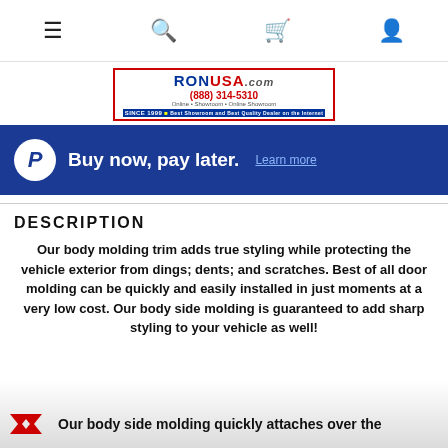Navigation bar with menu, search, cart, and account icons
[Figure (logo): RONUSA.com logo with phone number (888) 314-5310 in red and blue, with red border and blue banner]
[Figure (infographic): PayPal 'Buy now, pay later. Learn more' blue banner]
DESCRIPTION
Our body molding trim adds true styling while protecting the vehicle exterior from dings; dents; and scratches. Best of all door molding can be quickly and easily installed in just moments at a very low cost. Our body side molding is guaranteed to add sharp styling to your vehicle as well!
Our body side molding quickly attaches over the